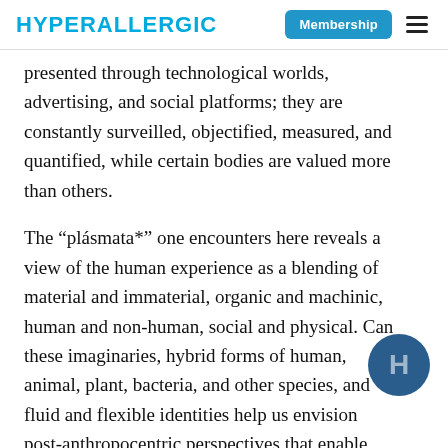HYPERALLERGIC | Membership
presented through technological worlds, advertising, and social platforms; they are constantly surveilled, objectified, measured, and quantified, while certain bodies are valued more than others.
The “plásmata*” one encounters here reveals a view of the human experience as a blending of material and immaterial, organic and machinic, human and non-human, social and physical. Can these imaginaries, hybrid forms of human, animal, plant, bacteria, and other species, and fluid and flexible identities help us envision post-anthropocentric perspectives that enable
[Figure (logo): Hyperallergic H logo circle, dark blue background with white H letter]